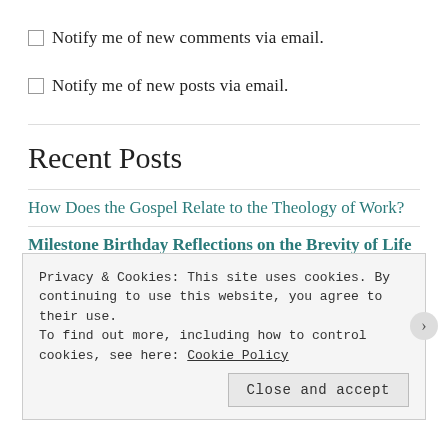Notify me of new comments via email.
Notify me of new posts via email.
Recent Posts
How Does the Gospel Relate to the Theology of Work?
Milestone Birthday Reflections on the Brevity of Life
Reflections on Working in a Job a Long Time
Privacy & Cookies: This site uses cookies. By continuing to use this website, you agree to their use. To find out more, including how to control cookies, see here: Cookie Policy
Close and accept